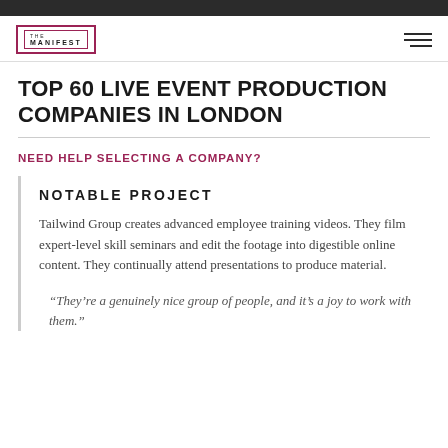THE MANIFEST
TOP 60 LIVE EVENT PRODUCTION COMPANIES IN LONDON
NEED HELP SELECTING A COMPANY?
NOTABLE PROJECT
Tailwind Group creates advanced employee training videos. They film expert-level skill seminars and edit the footage into digestible online content. They continually attend presentations to produce material.
“They’re a genuinely nice group of people, and it’s a joy to work with them.”